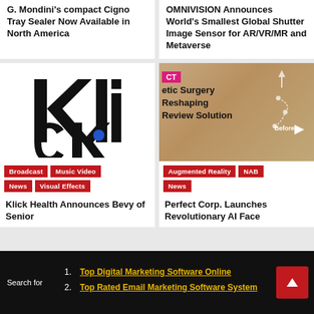G. Mondini's compact Cigno Tray Sealer Now Available in North America
OMNIVISION Announces World's Smallest Global Shutter Image Sensor for AR/VR/MR and Metaverse
[Figure (logo): Klick logo — bold black letters 'kli ck' with a blue dot]
Broadcast
Music Video
News
Visual Effects
Klick Health Announces Bevy of Senior
[Figure (photo): Woman's face split before/after with AR face reshaping overlay lines, with CT badge and text: etic Surgery Reshaping Review Solution]
Augmented Reality
NAB
News
Perfect Corp. Launches Revolutionary AI Face
Search for
1. Top Digital Marketing Software Online
2. Top Rated Email Marketing Software System